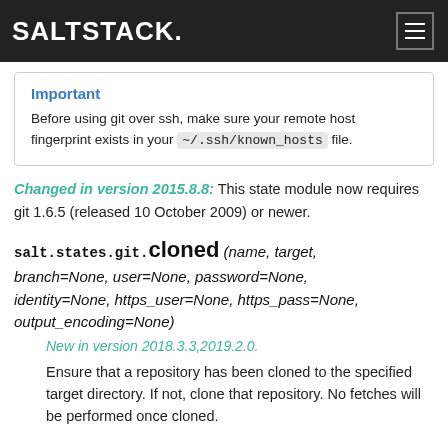SALTSTACK.
Important
Before using git over ssh, make sure your remote host fingerprint exists in your ~/.ssh/known_hosts file.
Changed in version 2015.8.8: This state module now requires git 1.6.5 (released 10 October 2009) or newer.
salt.states.git.cloned(name, target, branch=None, user=None, password=None, identity=None, https_user=None, https_pass=None, output_encoding=None)
New in version 2018.3.3,2019.2.0.
Ensure that a repository has been cloned to the specified target directory. If not, clone that repository. No fetches will be performed once cloned.